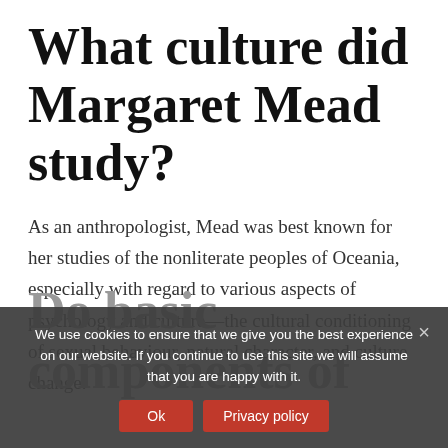What culture did Margaret Mead study?
As an anthropologist, Mead was best known for her studies of the nonliterate peoples of Oceania, especially with regard to various aspects of psychology and culture—the cultural conditioning of sexual behaviour, natural character, and culture change.
Do basic components of
We use cookies to ensure that we give you the best experience on our website. If you continue to use this site we will assume that you are happy with it.